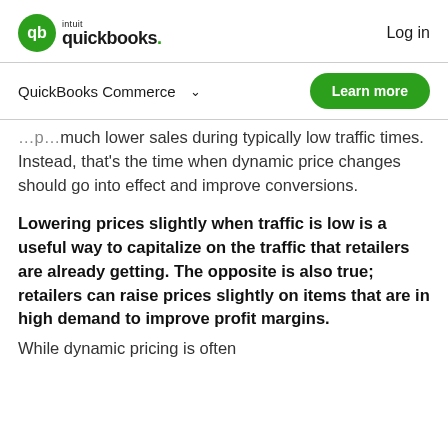intuit quickbooks. Log in
QuickBooks Commerce
much lower sales during typically low traffic times. Instead, that's the time when dynamic price changes should go into effect and improve conversions.
Lowering prices slightly when traffic is low is a useful way to capitalize on the traffic that retailers are already getting. The opposite is also true; retailers can raise prices slightly on items that are in high demand to improve profit margins.
While dynamic pricing is often